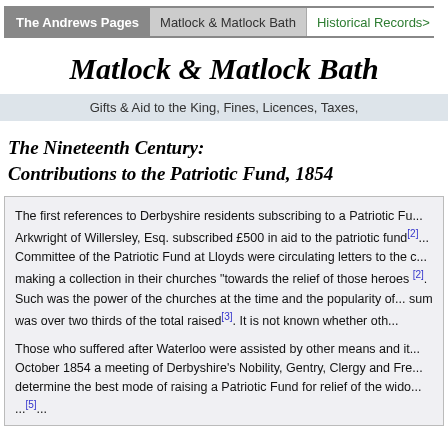The Andrews Pages | Matlock & Matlock Bath | Historical Records>
Matlock & Matlock Bath
Gifts & Aid to the King, Fines, Licences, Taxes,
The Nineteenth Century:
Contributions to the Patriotic Fund, 1854
The first references to Derbyshire residents subscribing to a Patriotic Fu... Arkwright of Willersley, Esq. subscribed £500 in aid to the patriotic fund[2]... Committee of the Patriotic Fund at Lloyds were circulating letters to the c... making a collection in their churches "towards the relief of those heroes [2]. Such was the power of the churches at the time and the popularity of... sum was over two thirds of the total raised[3]. It is not known whether oth...
Those who suffered after Waterloo were assisted by other means and it... October 1854 a meeting of Derbyshire's Nobility, Gentry, Clergy and Fre... determine the best mode of raising a Patriotic Fund for relief of the wido... ...[5]...